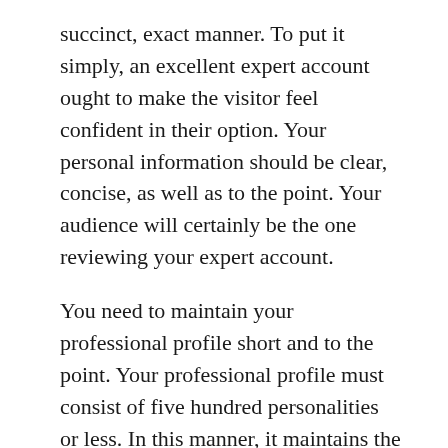succinct, exact manner. To put it simply, an excellent expert account ought to make the visitor feel confident in their option. Your personal information should be clear, concise, as well as to the point. Your audience will certainly be the one reviewing your expert account.
You need to maintain your professional profile short and to the point. Your professional profile must consist of five hundred personalities or less. In this manner, it maintains the focus of your possible employer. It should additionally have activity verbs. Your sentences ought to be short and to the point. When you write a resume, take into consideration the target audience. If it's a technical target market, you need to consist of technological jargon. If the audience is non-technical, make use of transferable abilities.
Your expert account should consist of a couple of key